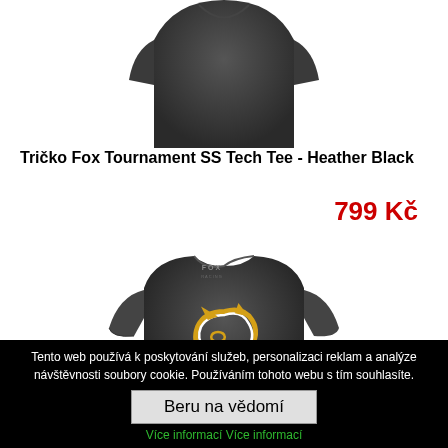[Figure (photo): Top portion of a dark heather black Fox t-shirt, cropped at the shoulders, showing the upper back/collar area of a dark grey t-shirt.]
Tričko Fox Tournament SS Tech Tee - Heather Black
799 Kč
[Figure (photo): Full front view of a dark heather black Fox t-shirt with a gold and white Fox head logo on the chest and FOX Racing text on the collar area.]
Tento web používá k poskytování služeb, personalizaci reklam a analýze návštěvnosti soubory cookie. Používáním tohoto webu s tím souhlasíte.
Beru na vědomí
Více informací Více informací